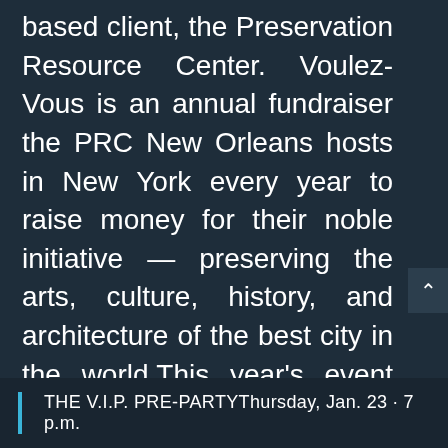based client, the Preservation Resource Center. Voulez-Vous is an annual fundraiser the PRC New Orleans hosts in New York every year to raise money for their noble initiative — preserving the arts, culture, history, and architecture of the best city in the world.This year's event will be held at the Angel Orensanz on Norfolk St. on the Lower East Side, itself an incredible demonstration of architectural history. The details are below along with a link to purchase tickets. We'd love to see some friendly faces so be sure to say hello next week if you happen to join us.
THE V.I.P. PRE-PARTYThursday, Jan. 23 · 7 p.m.